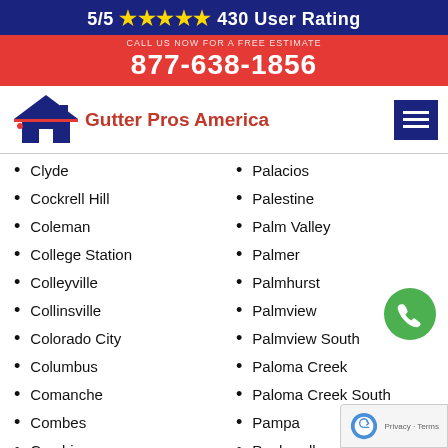5/5 ★★★★★ 430 User Rating
877-638-1856
[Figure (logo): Gutter Pros America logo with house roof icon in navy blue and red]
Clyde
Cockrell Hill
Coleman
College Station
Colleyville
Collinsville
Colorado City
Columbus
Comanche
Combes
Combine
Comfort
Commerce
Palacios
Palestine
Palm Valley
Palmer
Palmhurst
Palmview
Palmview South
Paloma Creek
Paloma Creek South
Pampa
Panhandle
Panorama Village
Pantego